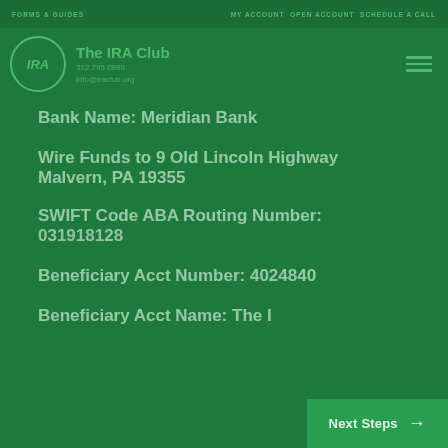FORMS & GUIDES    MY ACCOUNT  OPEN ACCOUNT  SCHEDULE A CALL
The IRA Club
info@iraclub.org
Bank Name: Meridian Bank
Wire Funds to 9 Old Lincoln Highway Malvern, PA 19355
SWIFT Code ABA Routing Number: 031918128
Beneficiary Acct Number: 4024840
Beneficiary Acct Name: The I...
Next Steps →